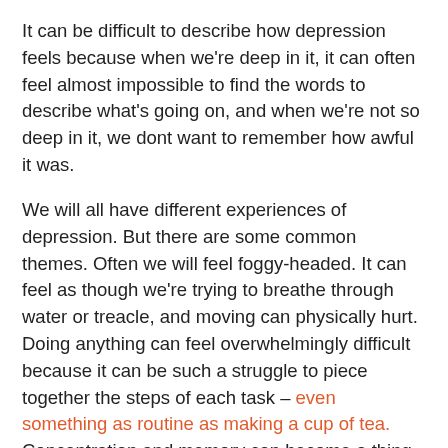It can be difficult to describe how depression feels because when we're deep in it, it can often feel almost impossible to find the words to describe what's going on, and when we're not so deep in it, we dont want to remember how awful it was.
We will all have different experiences of depression. But there are some common themes. Often we will feel foggy-headed. It can feel as though we're trying to breathe through water or treacle, and moving can physically hurt. Doing anything can feel overwhelmingly difficult because it can be such a struggle to piece together the steps of each task – even something as routine as making a cup of tea. Concentration and memory can become a thing of the past, as can our ability to perform basic self-care. It can feel horrendously isolating and lonely, yet socialising can feel impossible – we often feel like a black sheep, and voices can sound so loud. We can be filled with guilt, so much so that we deem ourselves worthless and unworthy of any love